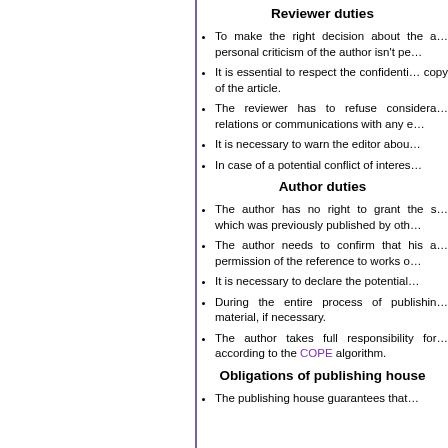Reviewer duties
To make the right decision about the article; personal criticism of the author isn't pe…
It is essential to respect the confidenti… copy of the article.
The reviewer has to refuse considera… relations or communications with any e…
It is necessary to warn the editor abou…
In case of a potential conflict of interes…
Author duties
The author has no right to grant the s… which was previously published by oth…
The author needs to confirm that his a… permission of the reference to works o…
It is necessary to declare the potential…
During the entire process of publishin… material, if necessary.
The author takes full responsibility for… according to the COPE algorithm.
Obligations of publishing house
The publishing house guarantees that…